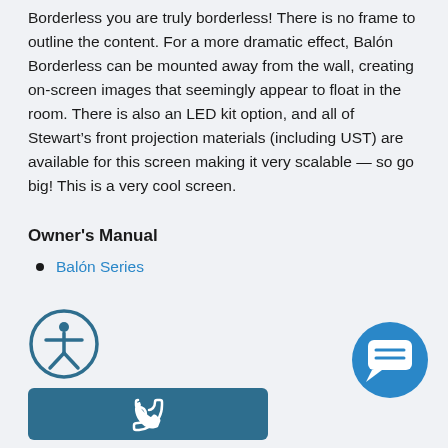Borderless you are truly borderless! There is no frame to outline the content. For a more dramatic effect, Balón Borderless can be mounted away from the wall, creating on-screen images that seemingly appear to float in the room. There is also an LED kit option, and all of Stewart's front projection materials (including UST) are available for this screen making it very scalable — so go big! This is a very cool screen.
Owner's Manual
Balón Series
[Figure (illustration): Accessibility icon — circular outline with a person figure inside]
[Figure (illustration): Chat/message bubble icon in a filled blue circle]
[Figure (illustration): Phone call button — teal/dark blue rounded rectangle with a phone handset icon]